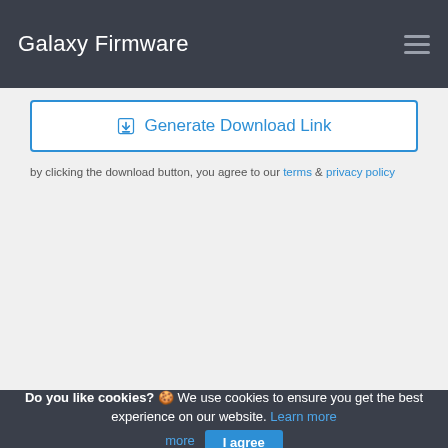Galaxy Firmware
[Figure (other): Generate Download Link button with download icon, blue border, white background]
by clicking the download button, you agree to our terms & privacy policy
Do you like cookies? 🍪 We use cookies to ensure you get the best experience on our website. Learn more  I agree